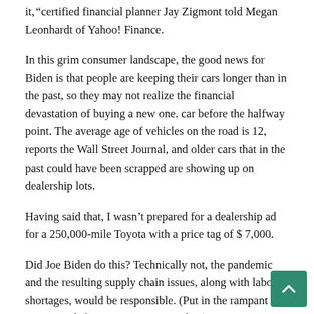it,â€ certified financial planner Jay Zigmont told Megan Leonhardt of Yahoo! Finance.
In this grim consumer landscape, the good news for Biden is that people are keeping their cars longer than in the past, so they may not realize the financial devastation of buying a new one. car before the halfway point. The average age of vehicles on the road is 12, reports the Wall Street Journal, and older cars that in the past could have been scrapped are showing up on dealership lots.
Having said that, I wasn’t prepared for a dealership ad for a 250,000-mile Toyota with a price tag of $ 7,000.
Did Joe Biden do this? Technically not, the pandemic and the resulting supply chain issues, along with labor shortages, would be responsible. (Put in the rampant Big Auto greed if you’re an anti-capitalist.)
But in a future election, Americans may well blame Biden on...